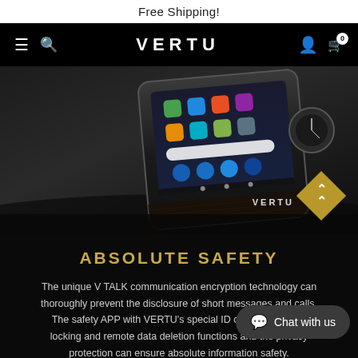Free Shipping!
VERTU
[Figure (photo): Close-up photo of a VERTU luxury smartphone with carbon fiber design, showing Android home screen with app icons, placed on a dark surface alongside a watch]
ABSOLUTE SAFETY
The unique V TALK communication encryption technology can thoroughly prevent the disclosure of short messages and calls. The safety APP with VERTU's special ID can also provide locking and remote data deletion functions and the privacy protection can ensure absolute information safety.